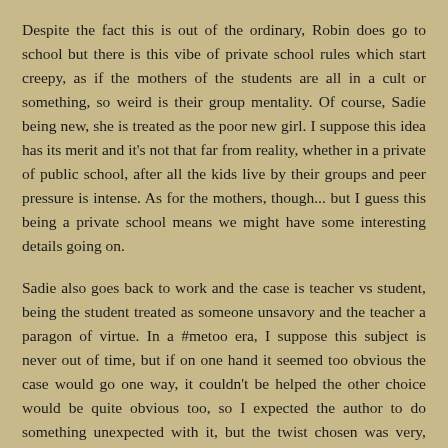Despite the fact this is out of the ordinary, Robin does go to school but there is this vibe of private school rules which start creepy, as if the mothers of the students are all in a cult or something, so weird is their group mentality. Of course, Sadie being new, she is treated as the poor new girl. I suppose this idea has its merit and it's not that far from reality, whether in a private of public school, after all the kids live by their groups and peer pressure is intense. As for the mothers, though... but I guess this being a private school means we might have some interesting details going on.
Sadie also goes back to work and the case is teacher vs student, being the student treated as someone unsavory and the teacher a paragon of virtue. In a #metoo era, I suppose this subject is never out of time, but if on one hand it seemed too obvious the case would go one way, it couldn't be helped the other choice would be quite obvious too, so I expected the author to do something unexpected with it, but the twist chosen was very, very weak...
In fact, I'd say the whole story was based on very ineffective